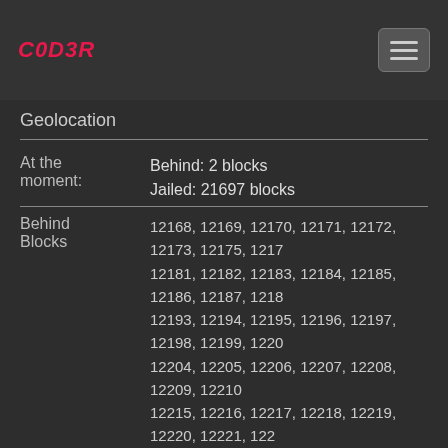C0D3R
Geolocation
| At the moment: | Behind: 2 blocks
Jailed: 21697 blocks |
| Behind Blocks | 12168, 12169, 12170, 12171, 12172, 12173, 12175, 1217...
12181, 12182, 12183, 12184, 12185, 12186, 12187, 1218...
12193, 12194, 12195, 12196, 12197, 12198, 12199, 1220...
12204, 12205, 12206, 12207, 12208, 12209, 12210...
12215, 12216, 12217, 12218, 12219, 12220, 12221, 122...
12227, 12228, 12229, 12230, 12231, 12232, 12233, 12...
12238, 12239, 12240, 12241, 12242, 12243, 12244,...
12249, 12250, 12251, 12252, 12253, 12254, 12255, 1...
12260, 12261, 12262, 12263, 12264, 12265, 12266, 1...
12271, 12272, 12273, 12274, 12275, 12276, 12277, 12...
12282, 12283, 12284, 12285, 12286, 12287, 12288... |